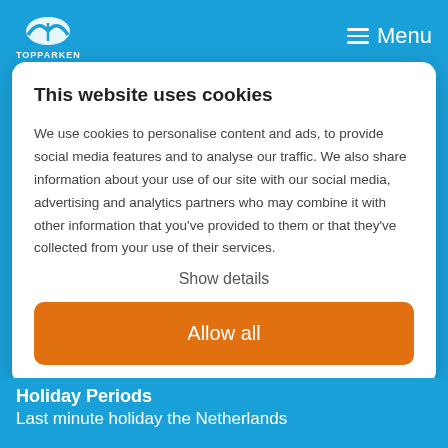TOPPARKEN  Menu
This website uses cookies
We use cookies to personalise content and ads, to provide social media features and to analyse our traffic. We also share information about your use of our site with our social media, advertising and analytics partners who may combine it with other information that you’ve provided to them or that they’ve collected from your use of their services.
Show details
Allow all
Holiday Periods
Last minute holiday the Netherlands